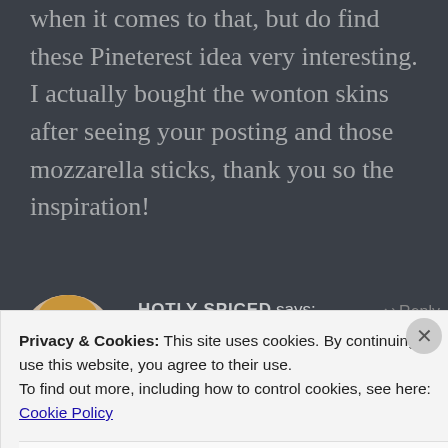when it comes to that, but do find these Pineterest idea very interesting. I actually bought the wonton skins after seeing your posting and those mozzarella sticks, thank you so the inspiration!
HOTLY SPICED says: July 26, 2012 at 6:09 am ↩ Reply
[Figure (photo): Circular avatar photo of a blonde woman]
Privacy & Cookies: This site uses cookies. By continuing to use this website, you agree to their use. To find out more, including how to control cookies, see here: Cookie Policy
Close and accept